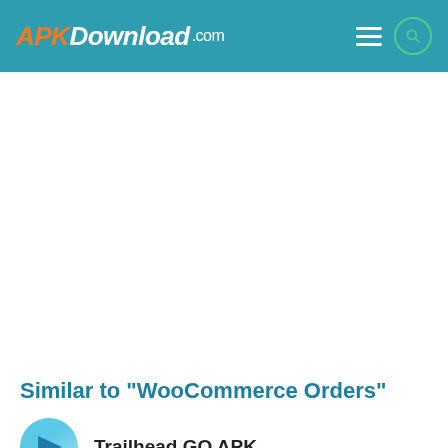APKDownload.com
[Figure (other): Large white advertisement/content area placeholder]
Similar to "WooCommerce Orders"
Trailhead GO APK